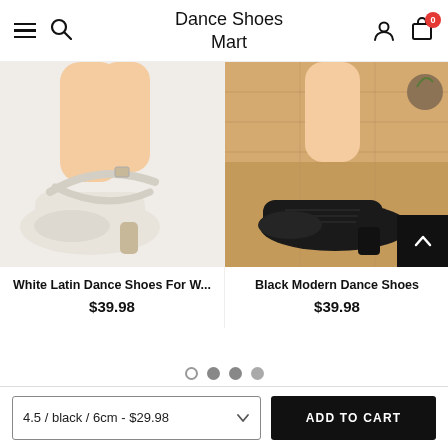Dance Shoes Mart
[Figure (photo): White Latin dance shoes with cross ankle straps and block heel, close-up on feet against white background]
[Figure (photo): Black modern dance shoes (oxford style) with block heel, worn on wooden floor background]
White Latin Dance Shoes For W...
$39.98
Black Modern Dance Shoes
$39.98
4.5 / black / 6cm - $29.98
ADD TO CART